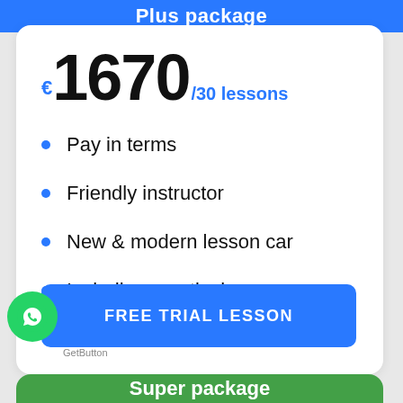Plus package
€1670 /30 lessons
Pay in terms
Friendly instructor
New & modern lesson car
Including practical exam
FREE TRIAL LESSON
Super package